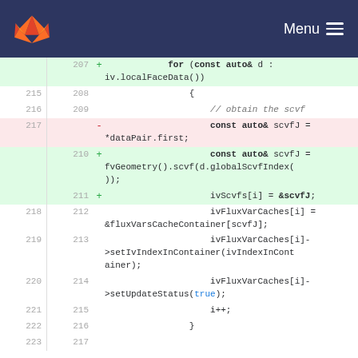GitLab — Menu
[Figure (screenshot): GitLab code diff view showing C++ code changes around lines 207-217 (old) and 208-217 (new). Added lines show a range-based for loop over iv.localFaceData(), initialization of scvfJ via fvGeometry().scvf(d.globalScvfIndex()), ivScvfs[i] = &scvfJ, and unchanged lines for ivFluxVarCaches and setIvIndexInContainer and setUpdateStatus. Removed line shows const auto& scvfJ = *dataPair.first.]